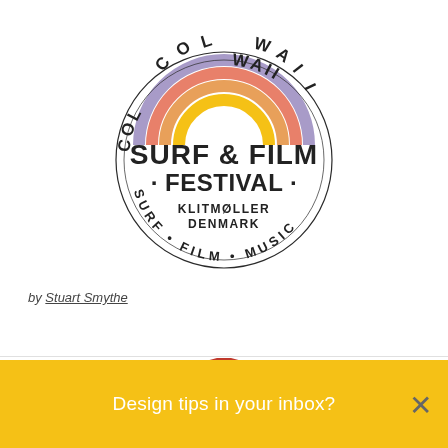[Figure (logo): Cold Hawaii Surf & Film Festival logo — circular badge with rainbow arc at top, text reading SURF & FILM FESTIVAL in bold, KLITMØLLER DENMARK in center, and SURF • FILM • MUSIC around the bottom arc]
by Stuart Smythe
[Figure (other): Partial red arc/logo visible at bottom of white content area]
Design tips in your inbox?